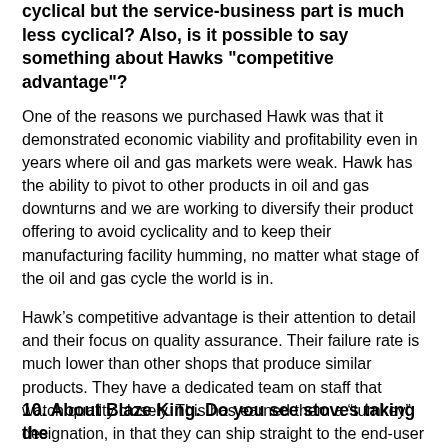cyclical but the service-business part is much less cyclical? Also, is it possible to say something about Hawks "competitive advantage"?
One of the reasons we purchased Hawk was that it demonstrated economic viability and profitability even in years where oil and gas markets were weak. Hawk has the ability to pivot to other products in oil and gas downturns and we are working to diversify their product offering to avoid cyclicality and to keep their manufacturing facility humming, no matter what stage of the oil and gas cycle the world is in.
Hawk’s competitive advantage is their attention to detail and their focus on quality assurance. Their failure rate is much lower than other shops that produce similar products. They have a dedicated team on staff that watch quality closely. This has earned them a “turnkey” designation, in that they can ship straight to the end-user without requiring separate client inspection. This is a very large competitive advantage.
10. About Blaze King. Do you see stoves taking the